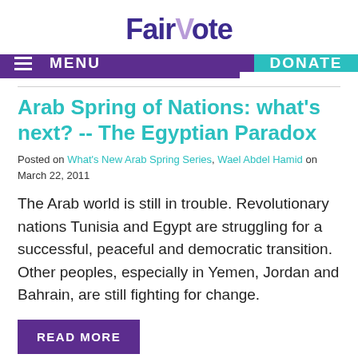FairVote
MENU  DONATE
Arab Spring of Nations: what's next? -- The Egyptian Paradox
Posted on What's New Arab Spring Series, Wael Abdel Hamid on March 22, 2011
The Arab world is still in trouble. Revolutionary nations Tunisia and Egypt are struggling for a successful, peaceful and democratic transition. Other peoples, especially in Yemen, Jordan and Bahrain, are still fighting for change.
READ MORE